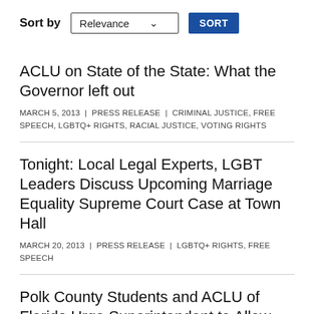Sort by  Relevance  SORT
ACLU on State of the State: What the Governor left out
MARCH 5, 2013  |  PRESS RELEASE  |  CRIMINAL JUSTICE, FREE SPEECH, LGBTQ+ RIGHTS, RACIAL JUSTICE, VOTING RIGHTS
Tonight: Local Legal Experts, LGBT Leaders Discuss Upcoming Marriage Equality Supreme Court Case at Town Hall
MARCH 20, 2013  |  PRESS RELEASE  |  LGBTQ+ RIGHTS, FREE SPEECH
Polk County Students and ACLU of Florida Urge Superintendent to Allow Gay-Straight All…